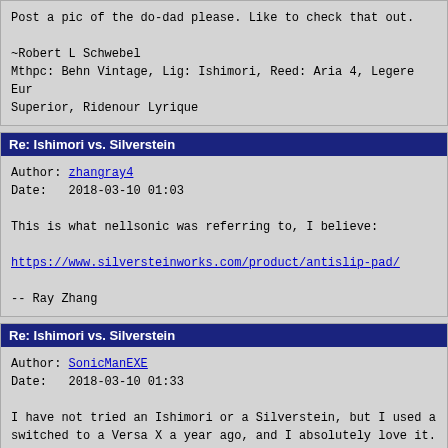Post a pic of the do-dad please. Like to check that out.

~Robert L Schwebel
Mthpc: Behn Vintage, Lig: Ishimori, Reed: Aria 4, Legere Eur Superior, Ridenour Lyrique
Re: Ishimori vs. Silverstein
Author: zhangray4
Date:   2018-03-10 01:03

This is what nellsonic was referring to, I believe:

https://www.silversteinworks.com/product/antislip-pad/

-- Ray Zhang
Re: Ishimori vs. Silverstein
Author: SonicManEXE
Date:   2018-03-10 01:33

I have not tried an Ishimori or a Silverstein, but I used a switched to a Versa X a year ago, and I absolutely love it. get away from Rovner except for personal preference.